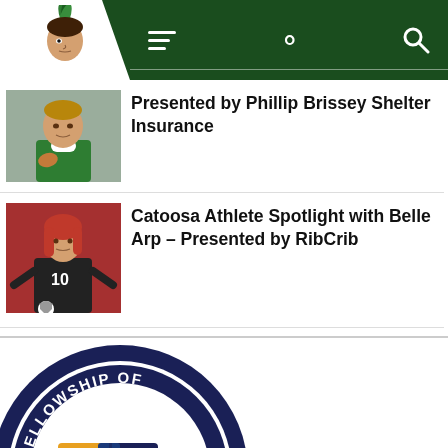[Figure (logo): School mascot logo (warrior/chief figure with feathers) on white background, next to dark green navigation bar with hamburger menu and search icon]
[Figure (photo): Male athlete in green and white jersey holding a football, headshot/portrait style]
Presented by Phillip Brissey Shelter Insurance
[Figure (photo): Female soccer player wearing black jersey number 10, action shot on red turf]
Catoosa Athlete Spotlight with Belle Arp – Presented by RibCrib
[Figure (logo): Fellowship of Christian Athletes (FCA) circular badge logo with cross in center, navy blue border with gold and blue cross]